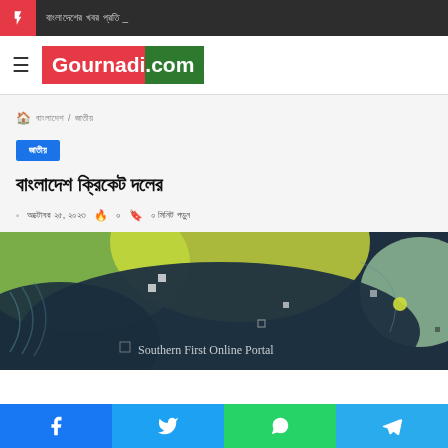Breaking news bar with lightning icon and Bengali text
Gournadi.com
🏠 বাংলাদেশ / জাতীয়
জাতীয়
বাংলাদেশ ক্রিকেট দলের
• অক্টোবর ২৫, ২০২৩  🔥 ০  🔖 ০ মিনিট পড়ুন
[Figure (illustration): Decorative abstract background with green, yellow and dark teal blob shapes, floating geometric squares, and 'Southern First Online Portal' text overlay]
Facebook | Twitter | WhatsApp | Telegram share buttons